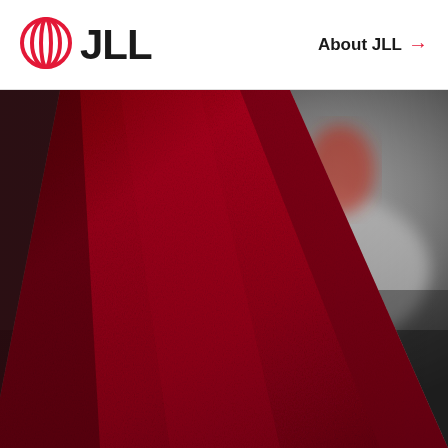JLL — About JLL →
[Figure (photo): Close-up photograph of a red fabric surface (chair or cone shape) in sharp focus on the left, with a blurred grey and reddish background suggesting an interior space. The image is predominantly deep red/crimson on the left side transitioning to grey/black tones on the right.]